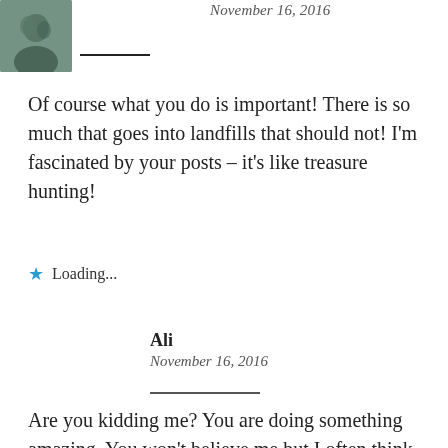[Figure (photo): Small avatar photo of a person, with a horizontal rule line to the right]
November 16, 2016
Of course what you do is important! There is so much that goes into landfills that should not! I'm fascinated by your posts – it's like treasure hunting!
Loading...
Ali
November 16, 2016
Are you kidding me? You are doing something amazing. You won't believe me but I often think of you and all the things being thrown away